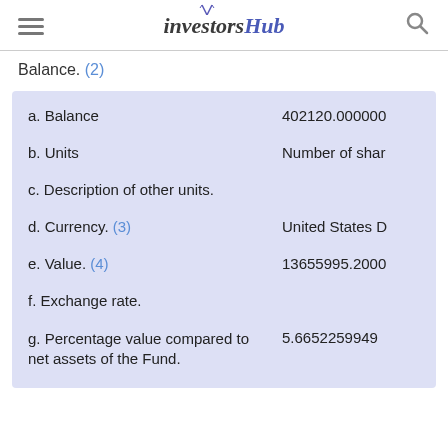investorshub
Balance. (2)
| Field | Value |
| --- | --- |
| a. Balance | 402120.000000 |
| b. Units | Number of shar |
| c. Description of other units. |  |
| d. Currency. (3) | United States D |
| e. Value. (4) | 13655995.2000 |
| f. Exchange rate. |  |
| g. Percentage value compared to net assets of the Fund. | 5.6652259949 |